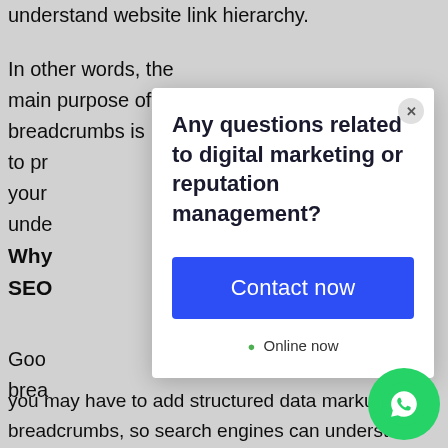understand website link hierarchy.
In other words, the main purpose of breadcrumbs is to pr... your... unde...
Why ... SEO ...
Goog... brea... you may have to add structured data markup for breadcrumbs, so search engines can understand these breadcrumbs and display them.
[Figure (screenshot): A modal dialog popup with text 'Any questions related to digital marketing or reputation management?' and a blue 'Contact now' button, plus an 'Online now' indicator. A WhatsApp floating button appears in the bottom right corner.]